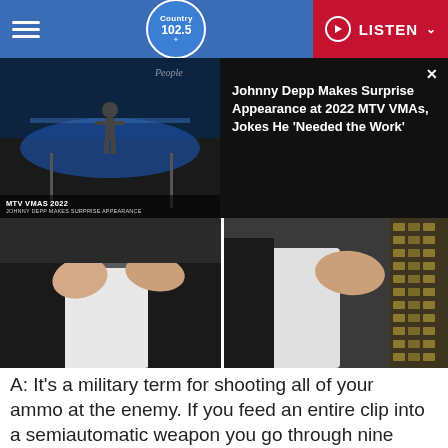[Figure (screenshot): Country 102.5 radio station website header with blue background, hamburger menu on left, Country 102.5 logo in center, and red LISTEN button with play icon on right]
[Figure (screenshot): Video card showing MTV VMAs 2022 Johnny Depp Makes Surprise Appearance thumbnail on left, and news headline on dark background on right with X close button]
[Figure (photo): Two side-by-side images of a person's hands/arms near ammunition belt]
A: It's a military term for shooting all of your ammo at the enemy. If you feed an entire clip into a semiautomatic weapon you go through nine yards of ammo